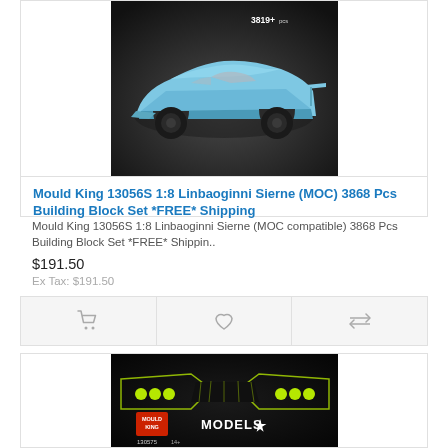[Figure (photo): Blue Mould King 13056S 1:8 Linbaoginni Sierne building block car model photo, showing a light blue supercar built from blocks, with '3819+pcs' text overlay, on dark background]
Mould King 13056S 1:8 Linbaoginni Sierne (MOC) 3868 Pcs Building Block Set *FREE* Shipping
Mould King 13056S 1:8 Linbaoginni Sierne (MOC compatible) 3868 Pcs Building Block Set *FREE* Shippin..
$191.50
Ex Tax: $191.50
[Figure (photo): Mould King Models box art showing a green/black supercar (Linbaoginni Sierne) on dark background with neon green accents and MOULD KING MODELS logo, item number 130575, 14+ age rating]